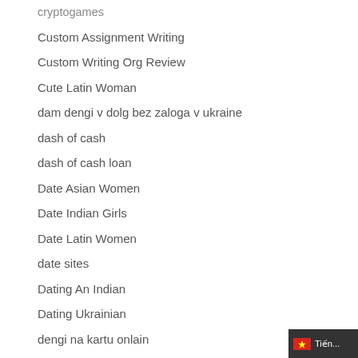cryptogames
Custom Assignment Writing
Custom Writing Org Review
Cute Latin Woman
dam dengi v dolg bez zaloga v ukraine
dash of cash
dash of cash loan
Date Asian Women
Date Indian Girls
Date Latin Women
date sites
Dating An Indian
Dating Ukrainian
dengi na kartu onlain
dengi v dolg kirovograd onlain